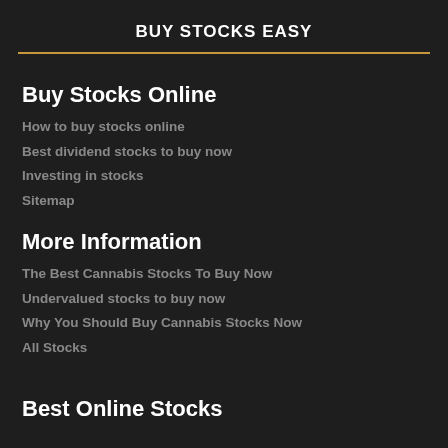BUY STOCKS EASY
Buy Stocks Online
How to buy stocks online
Best dividend stocks to buy now
Investing in stocks
Sitemap
More Information
The Best Cannabis Stocks To Buy Now
Undervalued stocks to buy now
Why You Should Buy Cannabis Stocks Now
All Stocks
Best Online Stocks